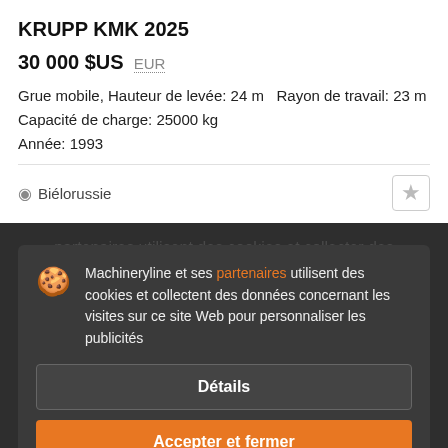KRUPP KMK 2025
30 000 $US  EUR
Grue mobile, Hauteur de levée: 24 m  Rayon de travail: 23 m
Capacité de charge: 25000 kg
Année: 1993
Biélorussie
Machineryline et ses partenaires utilisent des cookies et collectent des données concernant les visites sur ce site Web pour personnaliser les publicités
Détails
Accepter et fermer